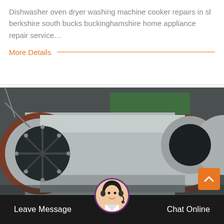Dishwasher oven dryer washing machine cooker repairs in sl berkshire south bucks buckinghamshire home appliance repair service…
More Details
[Figure (photo): Industrial cylindrical metal drums or rotary kilns with rust-colored flanges and open circular ends, viewed from the front in a workshop/industrial setting.]
Leave Message   Chat Online